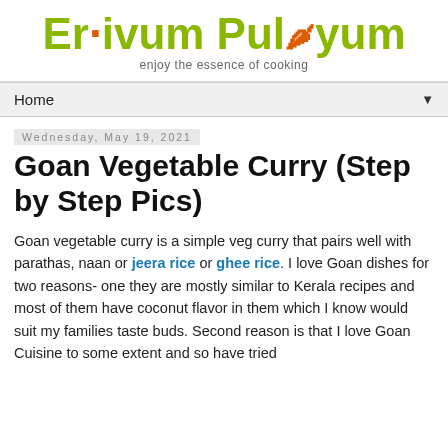Erivum Puliyum — enjoy the essence of cooking
Home
Wednesday, May 19, 2021
Goan Vegetable Curry (Step by Step Pics)
Goan vegetable curry is a simple veg curry that pairs well with parathas, naan or jeera rice or ghee rice. I love Goan dishes for two reasons- one they are mostly similar to Kerala recipes and most of them have coconut flavor in them which I know would suit my families taste buds. Second reason is that I love Goan Cuisine to some extent and so have tried